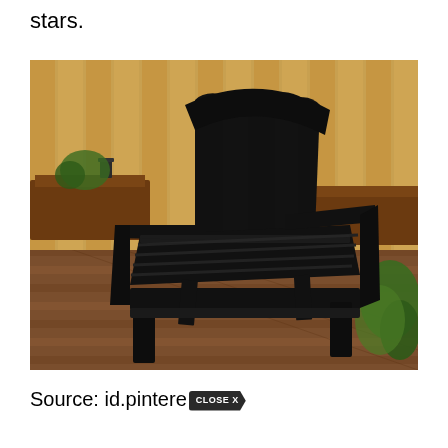stars.
[Figure (photo): A black Adirondack chair sitting on a wooden deck, with a wooden fence in the background and green plants to the right. There are also wooden planters and benches visible in the background.]
Source: id.pintere… CLOSE X